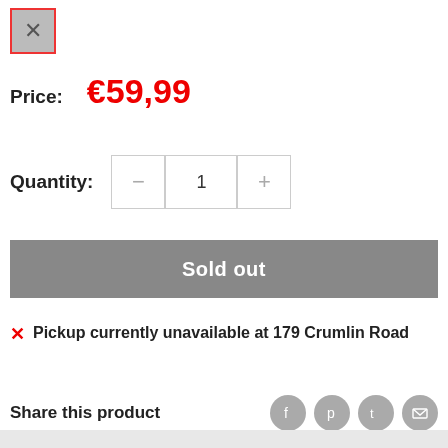[Figure (other): Close button: grey square with X icon, outlined in red]
Price: €59,99
Quantity: − 1 +
Sold out
✕ Pickup currently unavailable at 179 Crumlin Road
Share this product